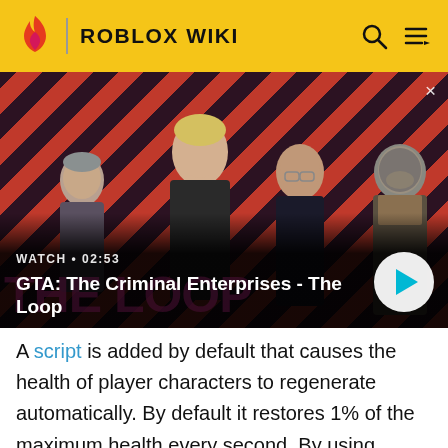ROBLOX WIKI
[Figure (screenshot): Video thumbnail for 'GTA: The Criminal Enterprises - The Loop' showing four game characters on a red diagonal-striped background. Overlay shows WATCH • 02:53 and a circular play button.]
GTA: The Criminal Enterprises - The Loop
A script is added by default that causes the health of player characters to regenerate automatically. By default it restores 1% of the maximum health every second. By using scripts, users can alter how fast the health is restored, if it regenerates at all, or make the health